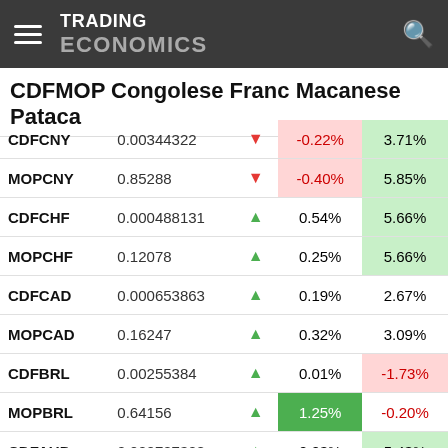TRADING ECONOMICS
CDFMOP Congolese Franc Macanese Pataca
| Symbol | Value |  | Day% | Year% |
| --- | --- | --- | --- | --- |
| CDFCNY | 0.00344322 | ▼ | -0.22% | 3.71% |
| MOPCNY | 0.85288 | ▼ | -0.40% | 5.85% |
| CDFCHF | 0.000488131 | ▲ | 0.54% | 5.66% |
| MOPCHF | 0.12078 | ▲ | 0.25% | 5.66% |
| CDFCAD | 0.000653863 | ▲ | 0.19% | 2.67% |
| MOPCAD | 0.16247 | ▲ | 0.32% | 3.09% |
| CDFBRL | 0.00255384 | ▲ | 0.01% | -1.73% |
| MOPBRL | 0.64156 | ▲ | 1.25% | -0.20% |
| CDFAUD | 0.000727308 | ▲ | 0.03% | 5.43% |
| CDFEUR | 0.000499599 | ▲ | 0.45% | 16.88% |